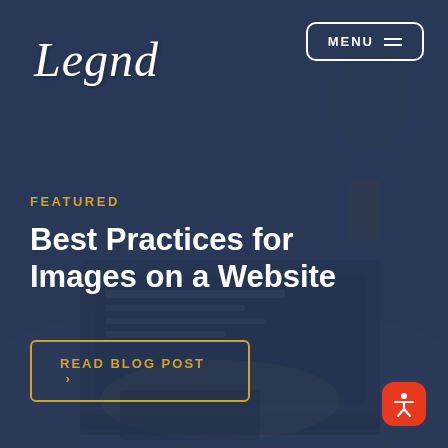[Figure (screenshot): Website hero banner screenshot for Legnd agency. Dark blue overlay on a background photo of a person typing on a laptop at a desk with plants and stationery. Navigation bar at top with Legnd logo (cursive/script) on left and MENU button with hamburger icon on right. Featured label in gold/amber, main headline in white bold text 'Best Practices for Images on a Website', gold-bordered CTA button 'READ BLOG POST >', and red accessibility icon in bottom-right corner.]
Legnd
FEATURED
Best Practices for Images on a Website
READ BLOG POST >